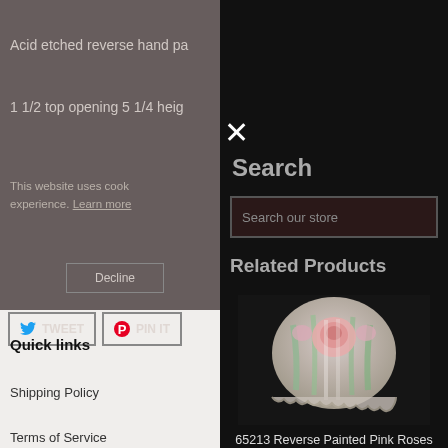Acid etched reverse hand pa
1 1/2 top opening 5 1/4 heig
This website uses cook experience. Learn more
Decline
TWEET
PIN IT
Quick links
Shipping Policy
Terms of Service
✕
Search
Search our store
Related Products
[Figure (photo): Lamp shade with reverse painted pink roses and green leaves on a dark background]
65213 Reverse Painted Pink Roses Lamp Shades
$99.95